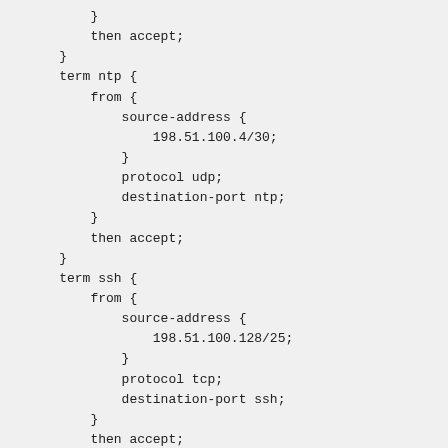}
    then accept;
}
term ntp {
    from {
        source-address {
            198.51.100.4/30;
        }
        protocol udp;
        destination-port ntp;
    }
    then accept;
}
term ssh {
    from {
        source-address {
            198.51.100.128/25;
        }
        protocol tcp;
        destination-port ssh;
    }
    then accept;
}